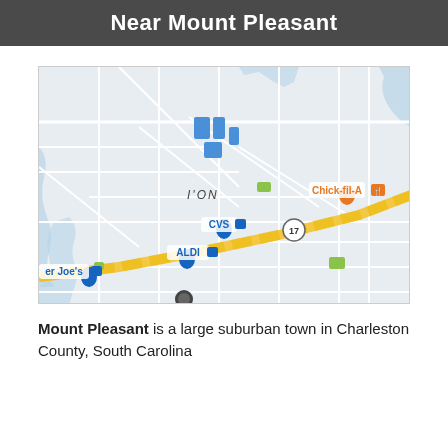Near Mount Pleasant
[Figure (map): Google Maps view of the I'ON neighborhood near Mount Pleasant, South Carolina, showing nearby businesses including Chick-fil-A, CVS, ALDI, and Trader Joe's, with Route 17 visible as a yellow road.]
Mount Pleasant is a large suburban town in Charleston County, South Carolina